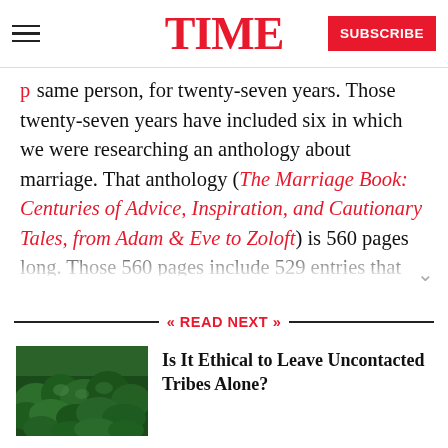TIME — SUBSCRIBE
same person, for twenty-seven years. Those twenty-seven years have included six in which we were researching an anthology about marriage. That anthology (The Marriage Book: Centuries of Advice, Inspiration, and Cautionary Tales, from Adam & Eve to Zoloft) is 560 pages long. Those 560 pages include 529 entries that we arrived at after scanning—honestly—tens of thousands of books, poems, newspaper articles, letters, postcards
READ NEXT
[Figure (photo): Aerial view of dense green forest/jungle canopy]
Is It Ethical to Leave Uncontacted Tribes Alone?